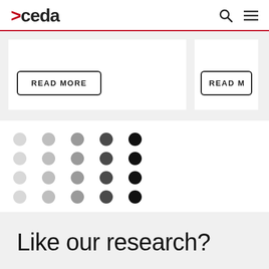>ceda
[Figure (screenshot): Two card panels with READ MORE buttons on a light grey background. Left card is full width showing a READ MORE button. Right card is partially visible showing READ M... button.]
[Figure (illustration): A 5x4 grid of circles graduating in color from light grey (left) to dark black (right), creating a gradient dot pattern.]
Like our research?